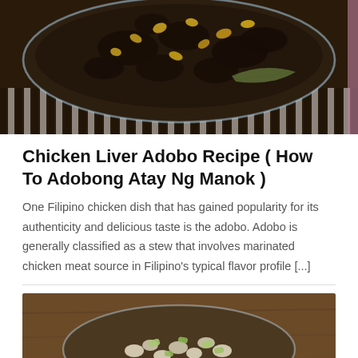[Figure (photo): A glass bowl of Chicken Liver Adobo (Adobong Atay Ng Manok) with dark braised chicken livers topped with golden fried garlic chips and bay leaves, placed on a striped bamboo mat.]
Chicken Liver Adobo Recipe ( How To Adobong Atay Ng Manok )
One Filipino chicken dish that has gained popularity for its authenticity and delicious taste is the adobo. Adobo is generally classified as a stew that involves marinated chicken meat source in Filipino's typical flavor profile [...]
[Figure (photo): A glass bowl containing pasta or macaroni with light green vegetable pieces on a wooden surface, with a yellow badge/overlay in the bottom right corner.]